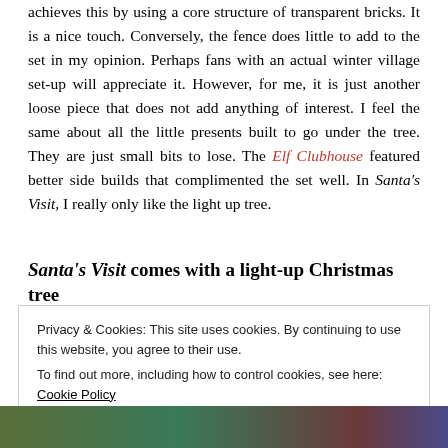achieves this by using a core structure of transparent bricks. It is a nice touch. Conversely, the fence does little to add to the set in my opinion. Perhaps fans with an actual winter village set-up will appreciate it. However, for me, it is just another loose piece that does not add anything of interest. I feel the same about all the little presents built to go under the tree. They are just small bits to lose. The Elf Clubhouse featured better side builds that complimented the set well. In Santa's Visit, I really only like the light up tree.
Santa's Visit comes with a light-up Christmas tree
Privacy & Cookies: This site uses cookies. By continuing to use this website, you agree to their use.
To find out more, including how to control cookies, see here: Cookie Policy
Close and accept
[Figure (photo): Partial view of a colorful LEGO set photo strip at the bottom of the page]